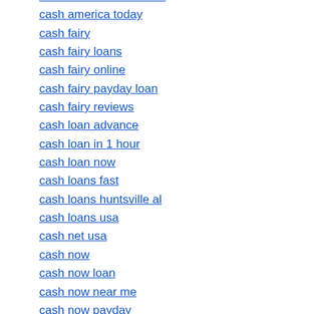cash advances near me
cash america today
cash fairy
cash fairy loans
cash fairy online
cash fairy payday loan
cash fairy reviews
cash loan advance
cash loan in 1 hour
cash loan now
cash loans fast
cash loans huntsville al
cash loans usa
cash net usa
cash now
cash now loan
cash now near me
cash now payday
cash one loan